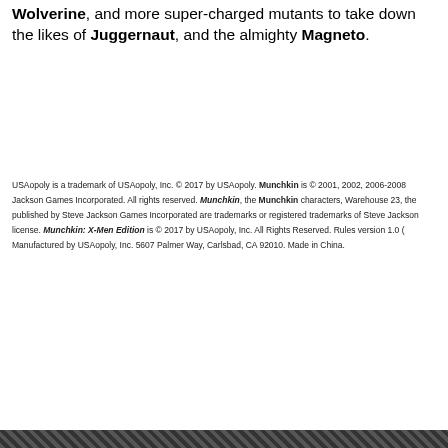Wolverine, and more super-charged mutants to take down the likes of Juggernaut, and the almighty Magneto.
USAopoly is a trademark of USAopoly, Inc. © 2017 by USAopoly. Munchkin is © 2001, 2002, 2006-2008 Steve Jackson Games Incorporated. All rights reserved. Munchkin, the Munchkin characters, Warehouse 23, the published by Steve Jackson Games Incorporated are trademarks or registered trademarks of Steve Jackson license. Munchkin: X-Men Edition is © 2017 by USAopoly, Inc. All Rights Reserved. Rules version 1.0 ( Manufactured by USAopoly, Inc. 5607 Palmer Way, Carlsbad, CA 92010. Made in China.